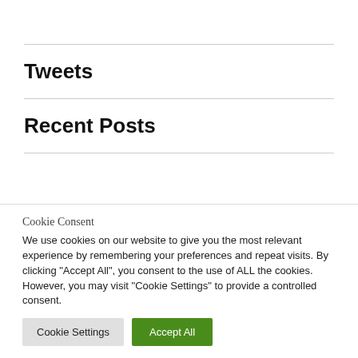Tweets
Recent Posts
Cookie Consent
We use cookies on our website to give you the most relevant experience by remembering your preferences and repeat visits. By clicking "Accept All", you consent to the use of ALL the cookies. However, you may visit "Cookie Settings" to provide a controlled consent.
Cookie Settings | Accept All